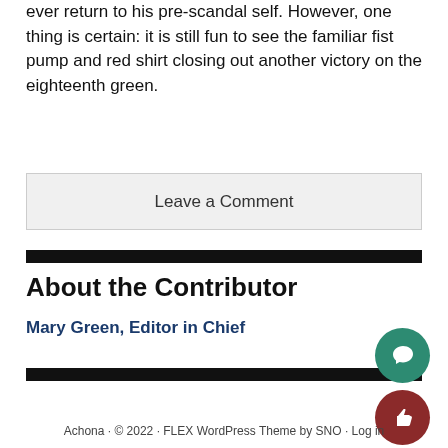ever return to his pre-scandal self. However, one thing is certain: it is still fun to see the familiar fist pump and red shirt closing out another victory on the eighteenth green.
Leave a Comment
About the Contributor
Mary Green, Editor in Chief
Achona · © 2022 · FLEX WordPress Theme by SNO · Log in